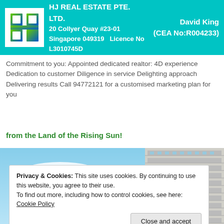HJ REAL ESTATE PTE. LTD. 20 Collyer Quay #23-01 Singapore 049319 Licence No L3010745D — David King (CEA No:R004233)
Commitment to you: Appointed dedicated realtor: 4D experience Dedication to customer Diligence in service Delighting approach Delivering results Call 94772121 for a customised marketing plan for you
from the Land of the Rising Sun!
[Figure (photo): Photograph of a modern residential apartment building against a blue sky with clouds]
Privacy & Cookies: This site uses cookies. By continuing to use this website, you agree to their use.
To find out more, including how to control cookies, see here: Cookie Policy
Close and accept